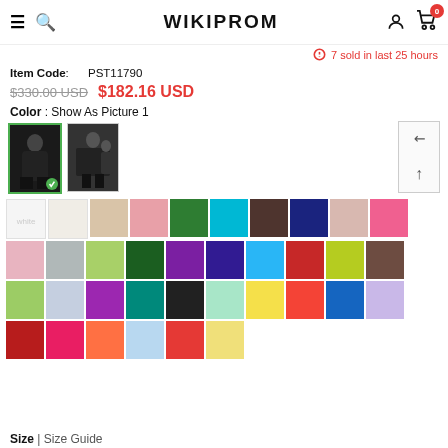WIKIPROM
7 sold in last 25 hours
Item Code: PST11790
$330.00 USD  $182.16 USD
Color : Show As Picture 1
[Figure (photo): Two dress thumbnails showing black prom dress options, first one selected with green checkmark]
[Figure (photo): Color swatch grid showing approximately 46 fabric color options including white, ivory, champagne, blush, green, teal, brown, navy, pink, silver, lime, dark green, purple, navy, light blue, red, yellow-green, chocolate, lime, periwinkle, violet, emerald, black, mint, yellow, orange-red, royal blue, lavender, crimson, fuchsia, orange, light blue, deep red, cream]
Size | Size Guide